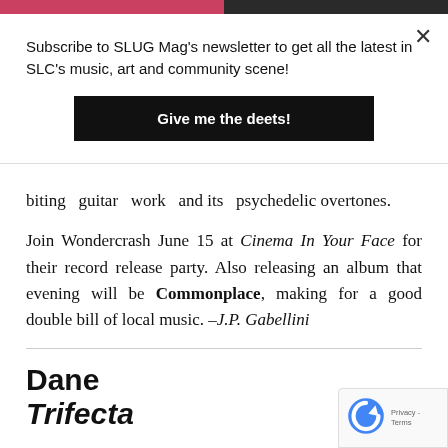Subscribe to SLUG Mag's newsletter to get all the latest in SLC's music, art and community scene!
Give me the deets!
biting guitar work and its psychedelic overtones.
Join Wondercrash June 15 at Cinema In Your Face for their record release party. Also releasing an album that evening will be Commonplace, making for a good double bill of local music. –J.P. Gabellini
Dane Trifecta
Not to be confused with Taylor Dane. album has some pretty good guitar that's